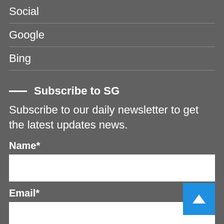Social
Google
Bing
Subscribe to SG
Subscribe to our daily newsletter to get the latest updates news.
Name*
Email*